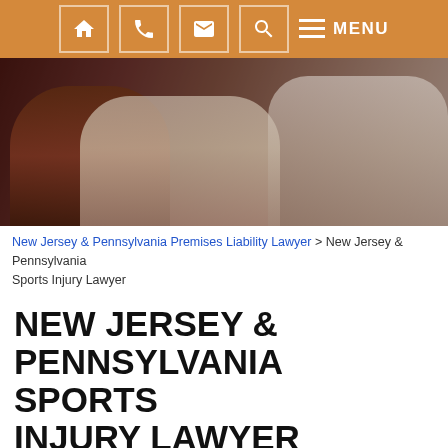[Figure (other): Website navigation bar with orange background showing home, phone, email, search, and menu icons]
[Figure (photo): Hero image showing two people in athletic/martial arts context, dark reddish-brown toned photo]
New Jersey & Pennsylvania Premises Liability Lawyer > New Jersey & Pennsylvania Sports Injury Lawyer
NEW JERSEY & PENNSYLVANIA SPORTS INJURY LAWYER
ticipating in sports almost always involves signing liability waivers and consent forms to participate.
When injuries do occur, the organization in charge of